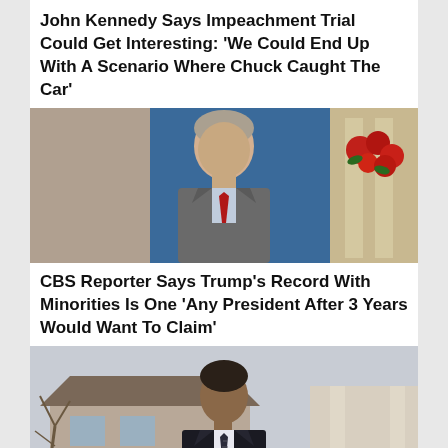John Kennedy Says Impeachment Trial Could Get Interesting: ‘We Could End Up With A Scenario Where Chuck Caught The Car’
[Figure (photo): Man in grey suit with red tie standing in front of a blue background with red flowers visible on the right]
CBS Reporter Says Trump’s Record With Minorities Is One ‘Any President After 3 Years Would Want To Claim’
[Figure (photo): Man in dark suit and tie outdoors in front of a house, appearing to speak or gesture]
BARR: New York Knife Attack Shows The Consequence Of Government Disarming Citizens